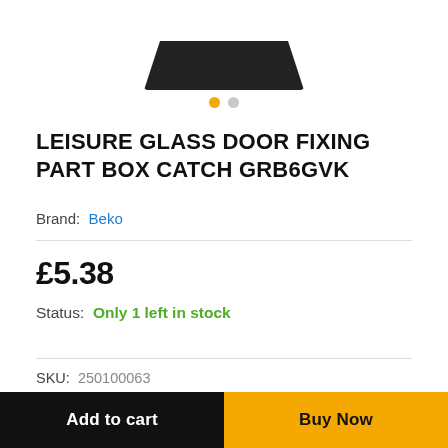[Figure (photo): Partial view of a dark/black product (box catch fixing part) photographed from above against white background]
LEISURE GLASS DOOR FIXING PART BOX CATCH GRB6GVK
Brand: Beko
£5.38
Status: Only 1 left in stock
SKU: 250100063
Categories: Catches & Latches, Cooker/Oven Parts
Add to cart
Buy Now